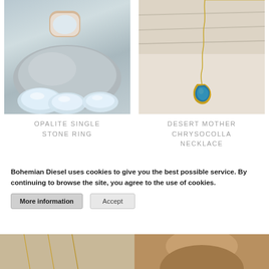[Figure (photo): Opalite stones on a grey rock surface, showing multiple translucent white/blue opalite stones]
OPALITE SINGLE STONE RING
[Figure (photo): Gold necklace with a teal/turquoise chrysocolla pendant against a light shell background]
DESERT MOTHER CHRYSOCOLLA NECKLACE
Bohemian Diesel uses cookies to give you the best possible service. By continuing to browse the site, you agree to the use of cookies.
More information
Accept
[Figure (photo): Partial view of jewelry on textured background, bottom left]
[Figure (photo): Partial view of person or jewelry, bottom right]